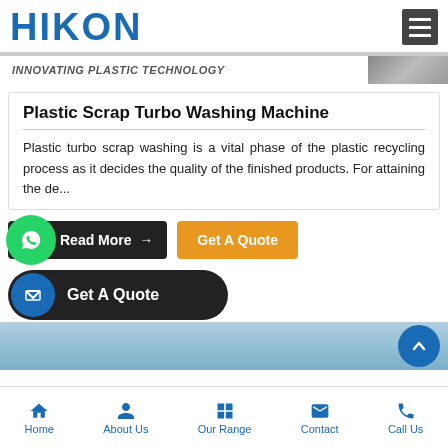HIKON — INNOVATING PLASTIC TECHNOLOGY
Plastic Scrap Turbo Washing Machine
Plastic turbo scrap washing is a vital phase of the plastic recycling process as it decides the quality of the finished products. For attaining the de...
Read More →   Get A Quote
Get A Quote
Home   About Us   Our Range   Contact   Call Us